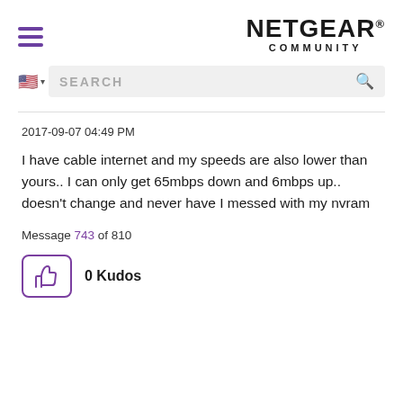NETGEAR COMMUNITY
2017-09-07 04:49 PM
I have cable internet and my speeds are also lower than yours.. I can only get 65mbps down and 6mbps up.. doesn't change and never have I messed with my nvram
Message 743 of 810
0 Kudos